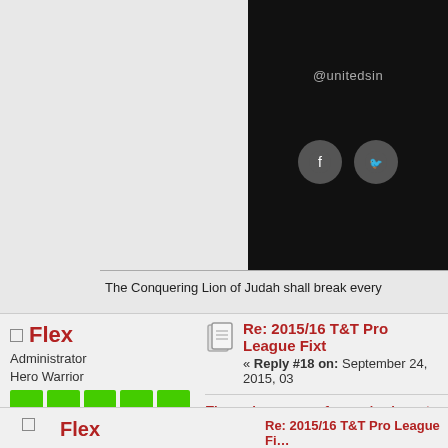[Figure (screenshot): Forum banner with dark background showing @unitedsin handle and social media icons (Facebook, Twitter)]
The Conquering Lion of Judah shall break every chain
Flex
Administrator
Hero Warrior
Posts: 17553
A Trini 4 Real.
Re: 2015/16 T&T Pro League Fixt…
« Reply #18 on: September 24, 2015, 03…
The real measure of a man's character is wh…
Flex
Re: 2015/16 T&T Pro League Fi…